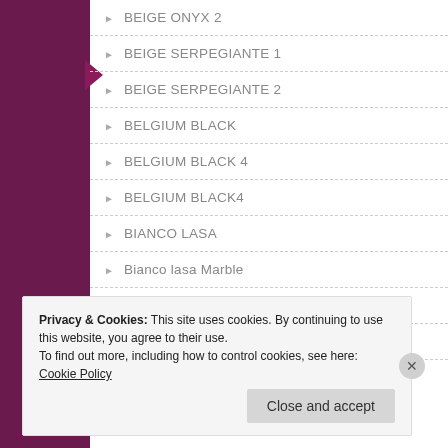BEIGE ONYX 2
BEIGE SERPEGIANTE 1
BEIGE SERPEGIANTE 2
BELGIUM BLACK
BELGIUM BLACK 4
BELGIUM BLACK4
BIANCO LASA
Bianco lasa Marble
Bianco lasa Marble 2
BIANCO MARFIL 1
Privacy & Cookies: This site uses cookies. By continuing to use this website, you agree to their use. To find out more, including how to control cookies, see here: Cookie Policy
Close and accept